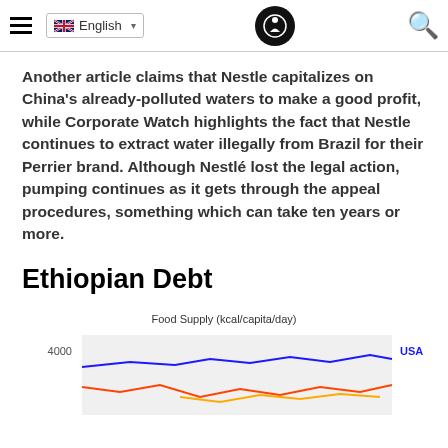English (language selector) | Logo | Search
Another article claims that Nestle capitalizes on China's already-polluted waters to make a good profit, while Corporate Watch highlights the fact that Nestle continues to extract water illegally from Brazil for their Perrier brand. Although Nestlé lost the legal action, pumping continues as it gets through the appeal procedures, something which can take ten years or more.
Ethiopian Debt
[Figure (line-chart): Partial line chart showing Food Supply in kcal/capita/day, y-axis label 4000 visible, USA label visible, blue and orange lines partially shown at bottom of page]